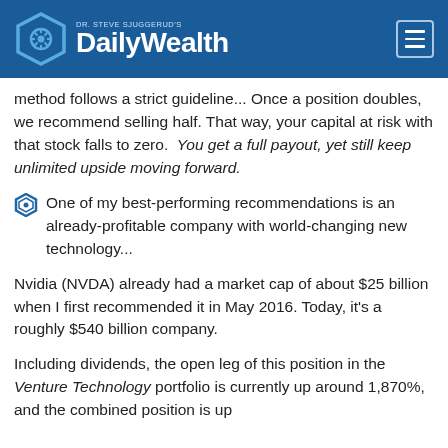DR. STEVE SJUGGERUD'S Daily Wealth
method follows a strict guideline... Once a position doubles, we recommend selling half. That way, your capital at risk with that stock falls to zero.  You get a full payout, yet still keep unlimited upside moving forward.
One of my best-performing recommendations is an already-profitable company with world-changing new technology...
Nvidia (NVDA) already had a market cap of about $25 billion when I first recommended it in May 2016. Today, it's a roughly $540 billion company.
Including dividends, the open leg of this position in the Venture Technology portfolio is currently up around 1,870%, and the combined position is up